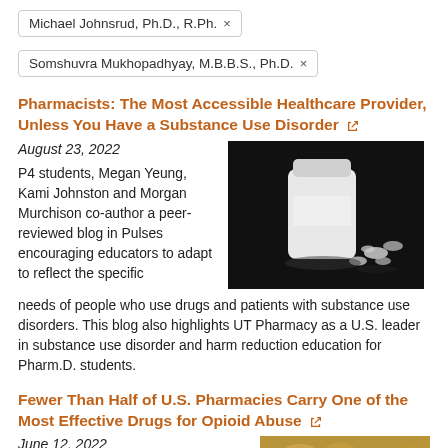Michael Johnsrud, Ph.D., R.Ph. ×
Somshuvra Mukhopadhyay, M.B.B.S., Ph.D. ×
Pharmacists: The Most Accessible Healthcare Provider, Unless You Have a Substance Use Disorder ↗
August 23, 2022
P4 students, Megan Yeung, Kami Johnston and Morgan Murchison co-author a peer-reviewed blog in Pulses encouraging educators to adapt to reflect the specific needs of people who use drugs and patients with substance use disorders. This blog also highlights UT Pharmacy as a U.S. leader in substance use disorder and harm reduction education for Pharm.D. students.
[Figure (photo): White pill bottle on its side with white pills spilling out on a dark/black background]
Fewer Than Half of U.S. Pharmacies Carry One of the Most Effective Drugs for Opioid Abuse ↗
June 12, 2022
[Figure (photo): Partial image of pills/tablets, warm tones]